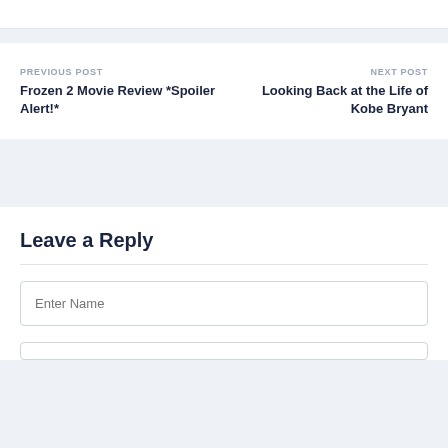PREVIOUS POST
Frozen 2 Movie Review *Spoiler Alert!*
NEXT POST
Looking Back at the Life of Kobe Bryant
Leave a Reply
Enter Name